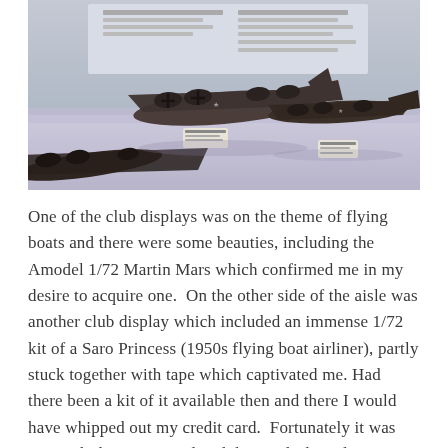[Figure (photo): Photograph of scale model aircraft (flying boats/bombers) displayed on a reflective surface with informational placards visible in the background.]
One of the club displays was on the theme of flying boats and there were some beauties, including the Amodel 1/72 Martin Mars which confirmed me in my desire to acquire one. On the other side of the aisle was another club display which included an immense 1/72 kit of a Saro Princess (1950s flying boat airliner), partly stuck together with tape which captivated me. Had there been a kit of it available then and there I would have whipped out my credit card. Fortunately it was not, and I have since calmed down a little and a modicum of reason has